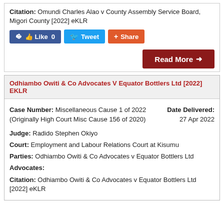Citation: Omundi Charles Alao v County Assembly Service Board, Migori County [2022] eKLR
[Figure (other): Social share buttons: Like 0 (Facebook blue), Tweet (Twitter blue), Share (orange/red)]
Read More →
Odhiambo Owiti & Co Advocates V Equator Bottlers Ltd [2022] EKLR
Case Number: Miscellaneous Cause 1 of 2022 (Originally High Court Misc Cause 156 of 2020)
Date Delivered: 27 Apr 2022
Judge: Radido Stephen Okiyo
Court: Employment and Labour Relations Court at Kisumu
Parties: Odhiambo Owiti & Co Advocates v Equator Bottlers Ltd
Advocates:
Citation: Odhiambo Owiti & Co Advocates v Equator Bottlers Ltd [2022] eKLR